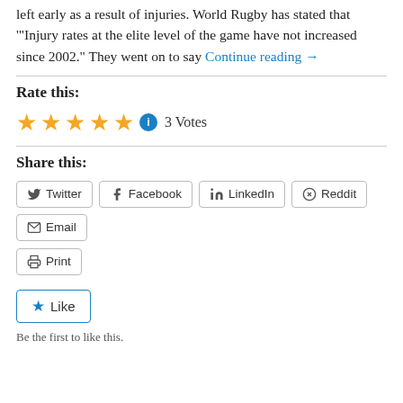left early as a result of injuries. World Rugby has stated that '"Injury rates at the elite level of the game have not increased since 2002." They went on to say Continue reading →
Rate this:
★★★★★ ℹ 3 Votes
Share this:
Twitter | Facebook | LinkedIn | Reddit | Email | Print
Like
Be the first to like this.